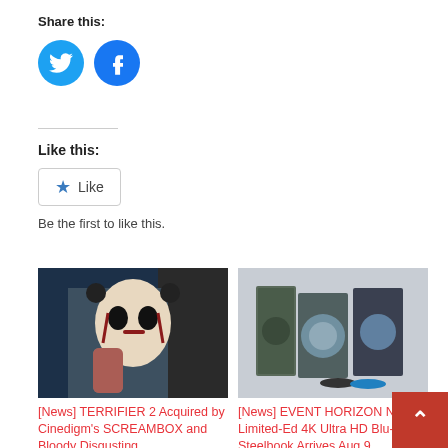Share this:
[Figure (illustration): Two circular social share buttons: Twitter (cyan/blue bird icon) and Facebook (blue 'f' icon)]
Like this:
[Figure (illustration): WordPress 'Like' button widget with a star icon and the text 'Like']
Be the first to like this.
[Figure (photo): Terrifier horror movie still: a bloody clown character with white face paint and black eyes holding up a bloody hand]
[News] TERRIFIER 2 Acquired by Cinedigm's SCREAMBOX and Bloody Disgusting
[Figure (photo): Event Horizon limited edition 4K Ultra HD Blu-ray Steelbook set displayed with multiple disc cases and two discs]
[News] EVENT HORIZON New Limited-Ed 4K Ultra HD Blu-ray Steelbook Arrives Aug 9